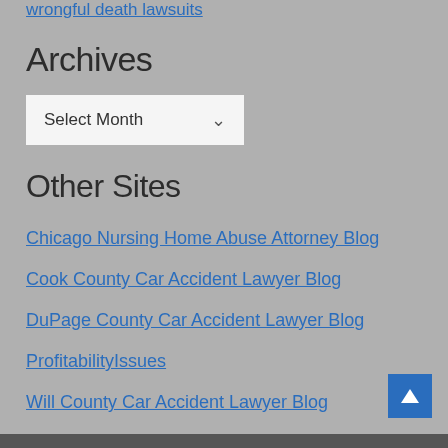wrongful death lawsuits
Archives
[Figure (screenshot): A dropdown select box labeled 'Select Month' with a downward-pointing arrow/chevron icon]
Other Sites
Chicago Nursing Home Abuse Attorney Blog
Cook County Car Accident Lawyer Blog
DuPage County Car Accident Lawyer Blog
ProfitabilityIssues
Will County Car Accident Lawyer Blog